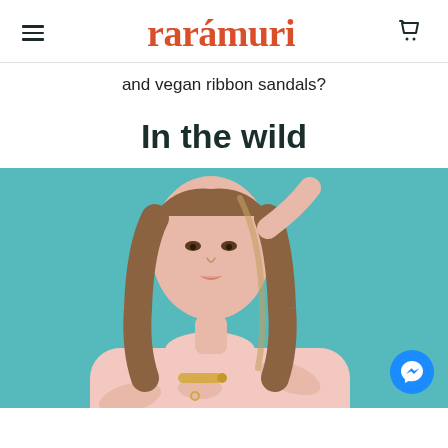rarámuri
and vegan ribbon sandals?
In the wild
[Figure (photo): Young woman with long brown hair wearing a light pink top and gold chain bracelet with rings, posed against a teal/turquoise background, arms crossed. A Messenger chat button is visible in the bottom right corner.]